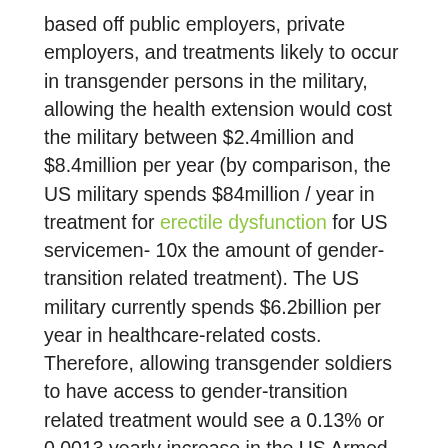based off public employers, private employers, and treatments likely to occur in transgender persons in the military, allowing the health extension would cost the military between $2.4million and $8.4million per year (by comparison, the US military spends $84million / year in treatment for erectile dysfunction for US servicemen- 10x the amount of gender-transition related treatment). The US military currently spends $6.2billion per year in healthcare-related costs.  Therefore, allowing transgender soldiers to have access to gender-transition related treatment would see a 0.13% or 0.0013 yearly increase in the US Armed Forces healthcare budget.  These specific estimates can be found between pages 33-37 of the RAND Report.  To put this in further perspective, one of President Trump's foundational arguments against the military service of transgender individuals is an unwillingness to spend a potential $2.4m-$8.4m /